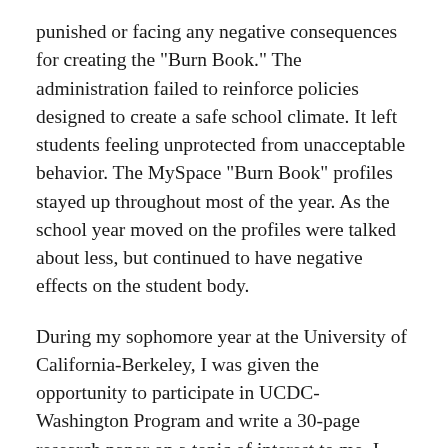punished or facing any negative consequences for creating the "Burn Book." The administration failed to reinforce policies designed to create a safe school climate. It left students feeling unprotected from unacceptable behavior. The MySpace "Burn Book" profiles stayed up throughout most of the year. As the school year moved on the profiles were talked about less, but continued to have negative effects on the student body.
During my sophomore year at the University of California-Berkeley, I was given the opportunity to participate in UCDC- Washington Program and write a 30-page research paper on a topic of interest to me. I chose to research cyberbullying due to both my high school experience and the increasing interest surrounding cyberbullying over the last few years. Cyberbullying is a growing problem due to the increased use of technology, especially among